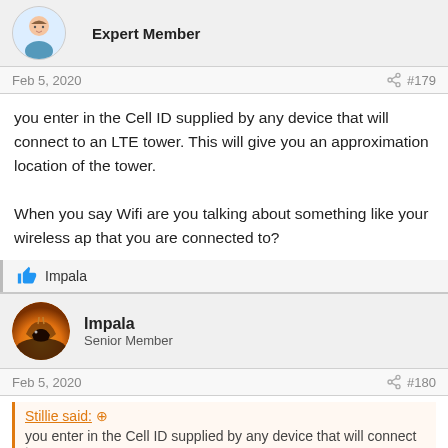[Figure (illustration): Cartoon avatar of a person (Expert Member user)]
Expert Member
Feb 5, 2020  #179
you enter in the Cell ID supplied by any device that will connect to an LTE tower. This will give you an approximation location of the tower.

When you say Wifi are you talking about something like your wireless ap that you are connected to?
Impala
[Figure (illustration): Circular avatar showing an impala silhouette against an orange sunset background]
Impala
Senior Member
Feb 5, 2020  #180
Stillie said: ↑
you enter in the Cell ID supplied by any device that will connect to an